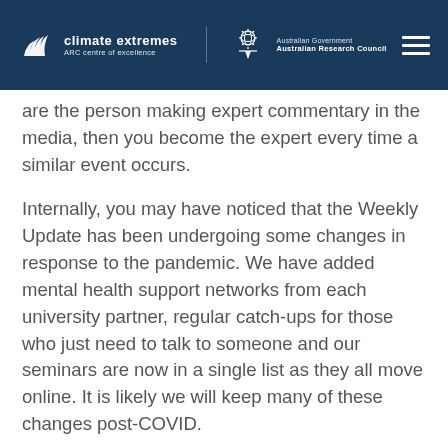climate extremes ARC centre of excellence | Australian Government Australian Research Council
are the person making expert commentary in the media, then you become the expert every time a similar event occurs.
Internally, you may have noticed that the Weekly Update has been undergoing some changes in response to the pandemic. We have added mental health support networks from each university partner, regular catch-ups for those who just need to talk to someone and our seminars are now in a single list as they all move online. It is likely we will keep many of these changes post-COVID.